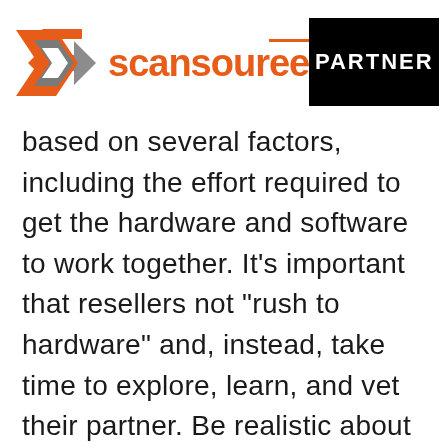[Figure (logo): ScanSource logo with orange and grey geometric icon and orange 'scansource' wordmark with overline on 'ee']
[Figure (other): Black rectangle with white bold text 'PARTNER']
based on several factors, including the effort required to get the hardware and software to work together. It’s important that resellers not “rush to hardware” and, instead, take time to explore, learn, and vet their partner. Be realistic about how much time the process will take, to